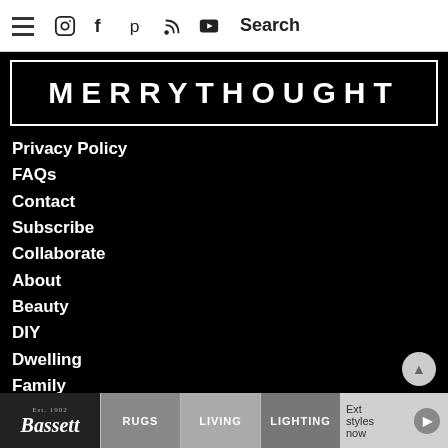☰ Instagram Facebook Pinterest RSS YouTube Search
[Figure (logo): MERRYTHOUGHT logo in white bold uppercase letters on black background with white border]
Privacy Policy
FAQs
Contact
Subscribe
Collaborate
About
Beauty
DIY
Dwelling
Family
Mocktails
Recipes
Shop Our Faves
Threads
Travel
© 2018 The Merrythought Collective, LLC | Logo by Craig Pierce
[Figure (infographic): Bassett furniture advertisement banner with RUGS, LIVING, LIGHTING categories and text 'Extra styles now']